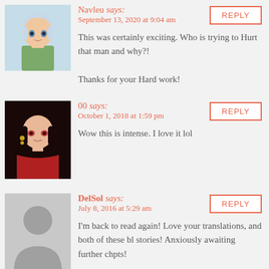Navleu says: September 13, 2020 at 9:04 am — This was certainly exciting. Who is trying to Hurt that man and why?! Thanks for your Hard work!
00 says: October 1, 2018 at 1:59 pm — Wow this is intense. I love it lol
DelSol says: July 8, 2016 at 5:29 am — I'm back to read again! Love your translations, and both of these bl stories! Anxiously awaiting further chpts!